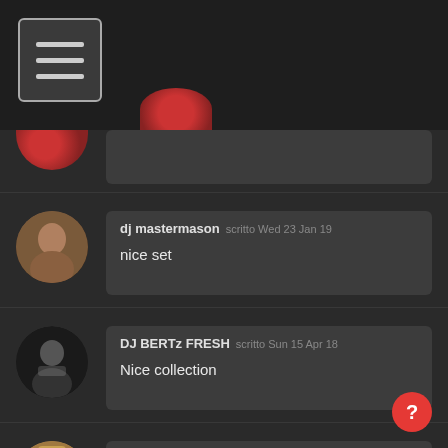[Figure (screenshot): Hamburger menu icon in top left header bar]
dj mastermason scritto Wed 23 Jan 19 — nice set
DJ BERTz FRESH scritto Sun 15 Apr 18 — Nice collection
djles.co.uk scritto Mon 17 Jul 17 — Am I missing something here? Supposed to be 90s yet the dates are all over the place.
KaraokeBOM scritto Thu 09 Feb 17 — Slide ~ Goo Goo Dolls